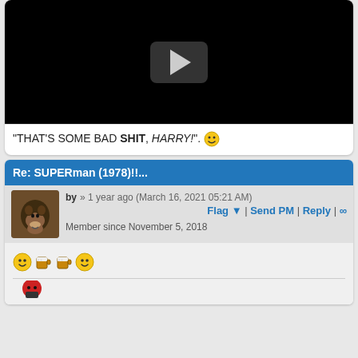[Figure (other): Embedded video player with black background and play button]
"THAT'S SOME BAD SHIT, HARRY!". 🙂
Re: SUPERman (1978)!!...
by » 1 year ago (March 16, 2021 05:21 AM) Flag ▼ | Send PM | Reply | ∞ Member since November 5, 2018
🙂🍺🍺🙂